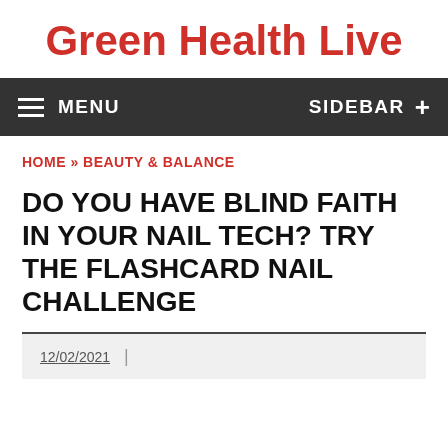Green Health Live
MENU   SIDEBAR +
HOME » BEAUTY & BALANCE
DO YOU HAVE BLIND FAITH IN YOUR NAIL TECH? TRY THE FLASHCARD NAIL CHALLENGE
12/02/2021